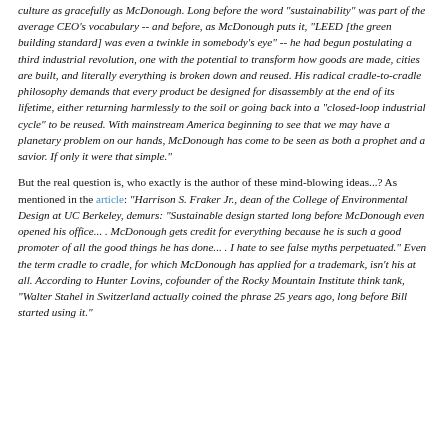culture as gracefully as McDonough. Long before the word "sustainability" was part of the average CEO's vocabulary -- and before, as McDonough puts it, "LEED [the green building standard] was even a twinkle in somebody's eye" -- he had begun postulating a third industrial revolution, one with the potential to transform how goods are made, cities are built, and literally everything is broken down and reused. His radical cradle-to-cradle philosophy demands that every product be designed for disassembly at the end of its lifetime, either returning harmlessly to the soil or going back into a "closed-loop industrial cycle" to be reused. With mainstream America beginning to see that we may have a planetary problem on our hands, McDonough has come to be seen as both a prophet and a savior. If only it were that simple."
But the real question is, who exactly is the author of these mind-blowing ideas...? As mentioned in the article: "Harrison S. Fraker Jr., dean of the College of Environmental Design at UC Berkeley, demurs: "Sustainable design started long before McDonough even opened his office... . McDonough gets credit for everything because he is such a good promoter of all the good things he has done... . I hate to see false myths perpetuated." Even the term cradle to cradle, for which McDonough has applied for a trademark, isn't his at all. According to Hunter Lovins, cofounder of the Rocky Mountain Institute think tank, "Walter Stahel in Switzerland actually coined the phrase 25 years ago, long before Bill started using it."